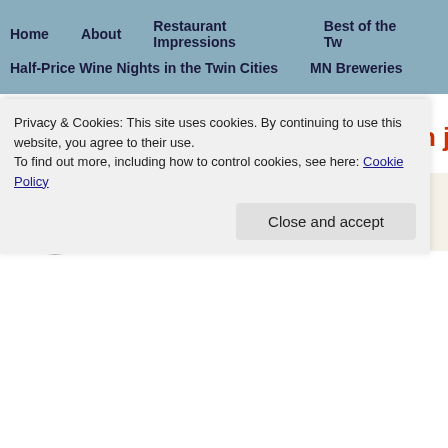Home   About   Restaurant Impressions   Best of the Tw...   Half-Price Wine Nights in the Twin Cities   MN Breweries
Tag Archives: four daughters loon juice
4 Daughters
AUG 10
Privacy & Cookies: This site uses cookies. By continuing to use this website, you agree to their use.
To find out more, including how to control cookies, see here: Cookie Policy
Close and accept